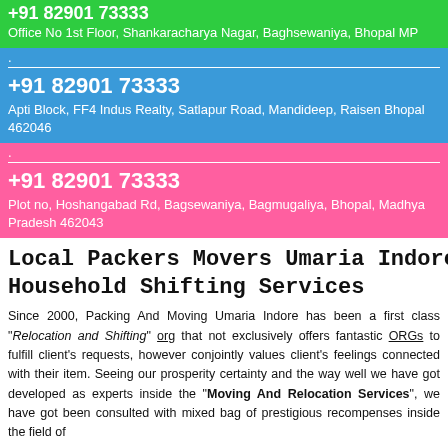+91 82901 73333
Office No 1st Floor, Shankaracharya Nagar, Baghsewaniya, Bhopal MP
.
+91 82901 73333
Apti Block, FF4 Indus Realty, Satlapur Road, Mandideep, Raisen Bhopal 462046
.
+91 82901 73333
Plot no, Hoshangabad Rd, Bagsewaniya, Bagmugaliya, Bhopal, Madhya Pradesh 462043
Local Packers Movers Umaria Indore | Household Shifting Services
Since 2000, Packing And Moving Umaria Indore has been a first class "Relocation and Shifting" org that not exclusively offers fantastic ORGs to fulfill client's requests, however conjointly values client's feelings connected with their item. Seeing our prosperity certainty and the way well we have got developed as experts inside the "Moving And Relocation Services", we have got been consulted with mixed bag of prestigious recompenses inside the field of